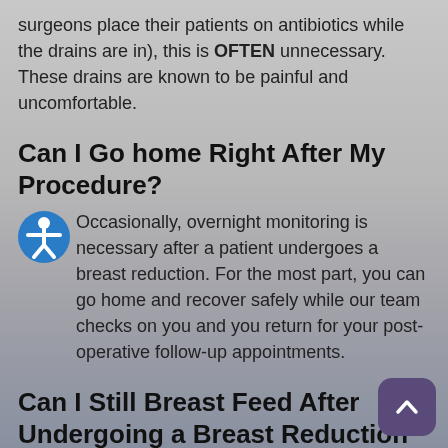surgeons place their patients on antibiotics while the drains are in), this is OFTEN unnecessary. These drains are known to be painful and uncomfortable.
Can I Go home Right After My Procedure?
Occasionally, overnight monitoring is necessary after a patient undergoes a breast reduction. For the most part, you can go home and recover safely while our team checks on you and you return for your post-operative follow-up appointments.
Can I Still Breast Feed After Undergoing a Breast Reduction Surgery?